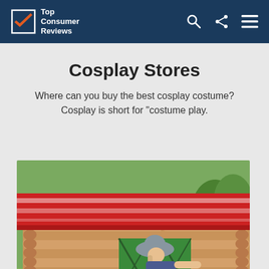Top Consumer Reviews
Cosplay Stores
Where can you buy the best cosplay costume? Cosplay is short for "costume play.
[Figure (photo): A child wearing a patterned hat leaning out of a green window shutter of a colorful log cabin playhouse with a red roof, outdoors in a garden setting.]